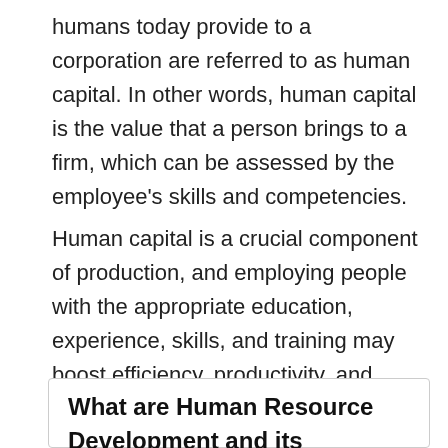humans today provide to a corporation are referred to as human capital. In other words, human capital is the value that a person brings to a firm, which can be assessed by the employee's skills and competencies.
Human capital is a crucial component of production, and employing people with the appropriate education, experience, skills, and training may boost efficiency, productivity, and profitability.
What are Human Resource Development and its